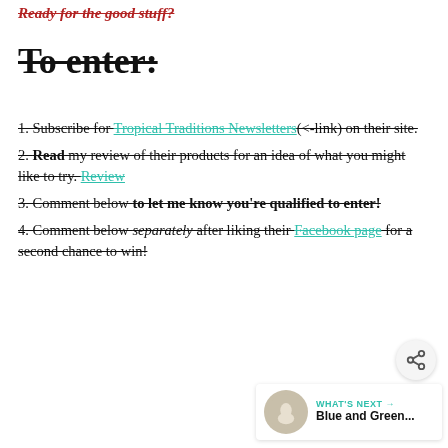Ready for the good stuff?
To enter:
1. Subscribe for Tropical Traditions Newsletters (<-link) on their site.
2. Read my review of their products for an idea of what you might like to try. Review
3. Comment below to let me know you're qualified to enter!
4. Comment below separately after liking their Facebook page for a second chance to win!
WHAT'S NEXT → Blue and Green...